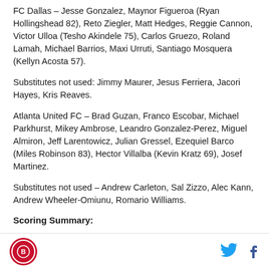FC Dallas – Jesse Gonzalez, Maynor Figueroa (Ryan Hollingshead 82), Reto Ziegler, Matt Hedges, Reggie Cannon, Victor Ulloa (Tesho Akindele 75), Carlos Gruezo, Roland Lamah, Michael Barrios, Maxi Urruti, Santiago Mosquera (Kellyn Acosta 57).
Substitutes not used: Jimmy Maurer, Jesus Ferriera, Jacori Hayes, Kris Reaves.
Atlanta United FC – Brad Guzan, Franco Escobar, Michael Parkhurst, Mikey Ambrose, Leandro Gonzalez-Perez, Miguel Almiron, Jeff Larentowicz, Julian Gressel, Ezequiel Barco (Miles Robinson 83), Hector Villalba (Kevin Kratz 69), Josef Martinez.
Substitutes not used – Andrew Carleton, Sal Zizzo, Alec Kann, Andrew Wheeler-Omiunu, Romario Williams.
Scoring Summary:
[Figure (logo): Red circular logo in the footer]
[Figure (logo): Twitter bird icon in footer]
[Figure (logo): Facebook f icon in footer]